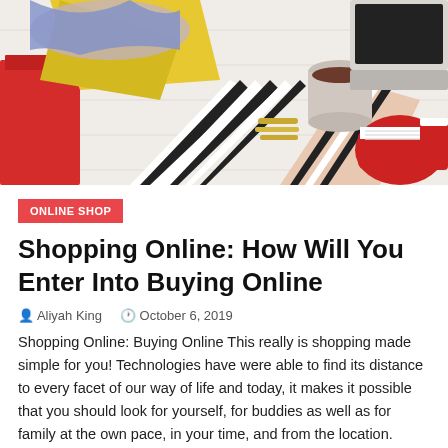[Figure (photo): Overhead view of a woman in black and white striped top holding a coffee cup, with colorful shopping bags, clothes, red sneakers, and a laptop on a white wooden surface]
ONLINE SHOP
Shopping Online: How Will You Enter Into Buying Online
Aliyah King   October 6, 2019
Shopping Online: Buying Online This really is shopping made simple for you! Technologies have were able to find its distance to every facet of our way of life and today, it makes it possible that you should look for yourself, for buddies as well as for family at the own pace, in your time, and from the location. Shopping online can provide several positive aspects like cost savings, better bargains, greater product